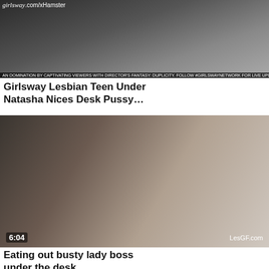[Figure (photo): Video thumbnail showing woman at desk, girlsway.com/xHamster branding, with banner text]
Girlsway Lesbian Teen Under Natasha Nices Desk Pussy…
[Figure (photo): Video thumbnail showing woman on phone, LesGF.com watermark, duration 6:04]
Eating out busty lady boss under the desk
[Figure (photo): Video thumbnail showing two women, duration 27:71 visible at bottom]